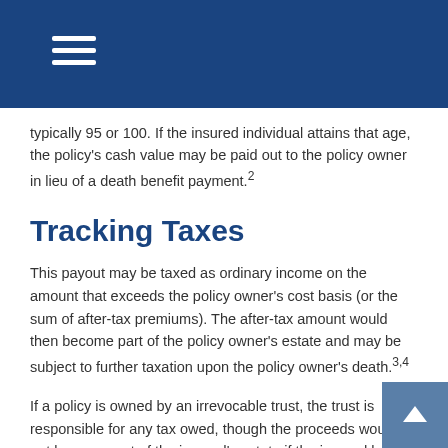typically 95 or 100. If the insured individual attains that age, the policy's cash value may be paid out to the policy owner in lieu of a death benefit payment.²
Tracking Taxes
This payout may be taxed as ordinary income on the amount that exceeds the policy owner's cost basis (or the sum of after-tax premiums). The after-tax amount would then become part of the policy owner's estate and may be subject to further taxation upon the policy owner's death.³,⁴
If a policy is owned by an irrevocable trust, the trust is responsible for any tax owed, though the proceeds would not become part of the insured's estate if the insured had no incidents of ownership.⁵